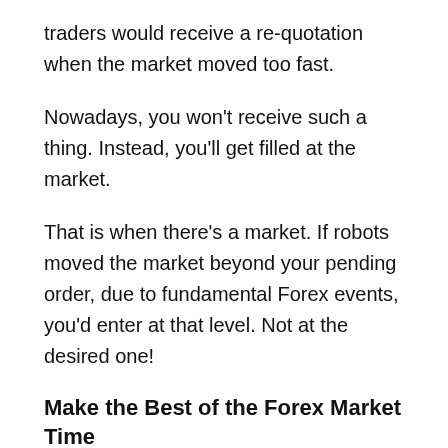traders would receive a re-quotation when the market moved too fast.
Nowadays, you won't receive such a thing. Instead, you'll get filled at the market.
That is when there's a market. If robots moved the market beyond your pending order, due to fundamental Forex events, you'd enter at that level. Not at the desired one!
Make the Best of the Forex Market Time
One of the most critical Forex trading tips should do with understanding the game. Oh well, this isn't a game, in the first place.